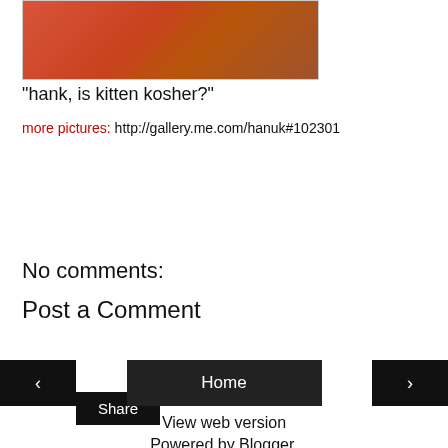[Figure (photo): Photo of a bowl of ramen/soup dish on a wooden table]
"hank, is kitten kosher?"
more pictures: http://gallery.me.com/hanuk#102301
Share
No comments:
Post a Comment
‹  Home  ›
View web version
Powered by Blogger.